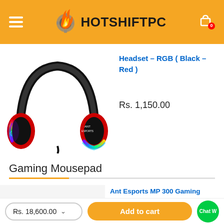HOTSHIFTPC
[Figure (photo): RGB gaming headset in black and red color with colorful LED lighting on the earcup]
Headset – RGB ( Black – Red )
Rs. 1,150.00
Gaming Mousepad
Ant Esports MP 300 Gaming Mouse Pad (Large Ext...
Rs. 18,600.00
Add to cart
Chat W